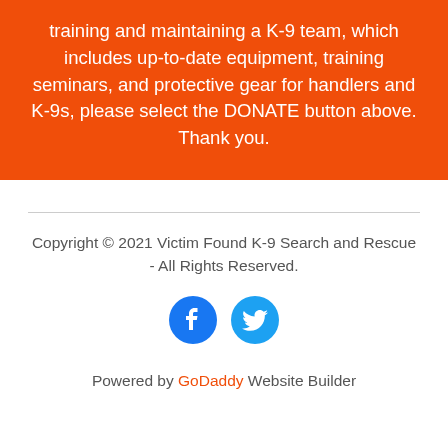training and maintaining a K-9 team, which includes up-to-date equipment, training seminars, and protective gear for handlers and K-9s, please select the DONATE button above. Thank you.
Copyright © 2021 Victim Found K-9 Search and Rescue - All Rights Reserved.
[Figure (illustration): Facebook and Twitter social media icon circles (blue)]
Powered by GoDaddy Website Builder